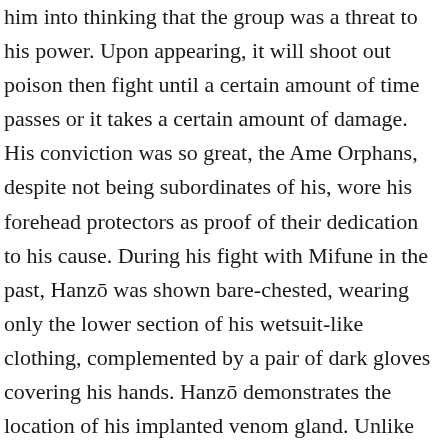him into thinking that the group was a threat to his power. Upon appearing, it will shoot out poison then fight until a certain amount of time passes or it takes a certain amount of damage. His conviction was so great, the Ame Orphans, despite not being subordinates of his, wore his forehead protectors as proof of their dedication to his cause. During his fight with Mifune in the past, Hanzō was shown bare-chested, wearing only the lower section of his wetsuit-like clothing, complemented by a pair of dark gloves covering his hands. Hanzō demonstrates the location of his implanted venom gland. Unlike Kankurō's other puppets, Salamander stays true to its name and resembles a salamander. The order comprises 10 families, among which are newts and salamanders proper (family Salamandridae) as well as hellbenders, mud puppies, and lungless salamanders. This procedure conferred to him the poison-related abilities of the creature, amongst which were an enhanced resistance to poison and the alteration of his body chemistry so that he too became toxic, so